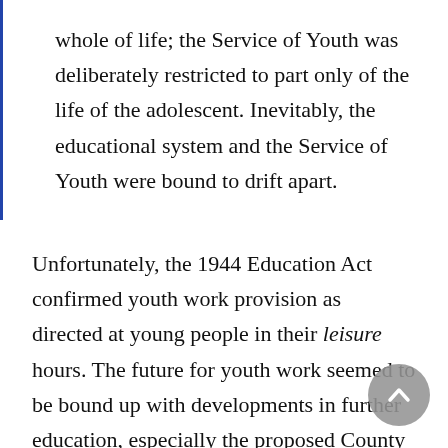whole of life; the Service of Youth was deliberately restricted to part only of the life of the adolescent. Inevitably, the educational system and the Service of Youth were bound to drift apart.
Unfortunately, the 1944 Education Act confirmed youth work provision as directed at young people in their leisure hours. The future for youth work seemed to be bound up with developments in further education, especially the proposed County Colleges. The fact that these never materialized – and that the continuing education of young people